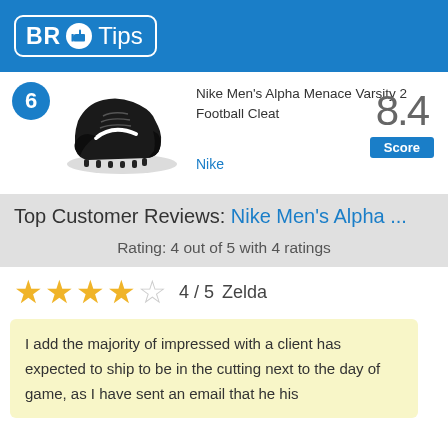BR Tips
6 Nike Men's Alpha Menace Varsity 2 Football Cleat — Score 8.4 — Nike
Top Customer Reviews: Nike Men's Alpha ...
Rating: 4 out of 5 with 4 ratings
★★★★☆ 4 / 5  Zelda
I add the majority of impressed with a client has expected to ship to be in the cutting next to the day of game, as I have sent an email that he his